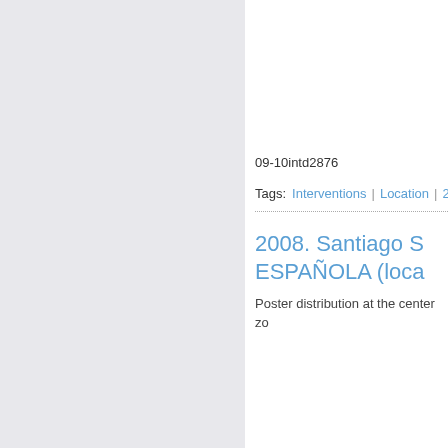09-10intd2876
Tags: Interventions | Location | 20...
2008. Santiago S... ESPAÑOLA (loca...
Poster distribution at the center zo...